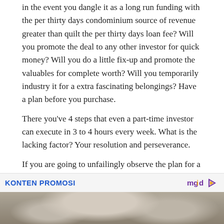in the event you dangle it as a long run funding with the per thirty days condominium source of revenue greater than quilt the per thirty days loan fee? Will you promote the deal to any other investor for quick money? Will you do a little fix-up and promote the valuables for complete worth? Will you temporarily industry it for a extra fascinating belongings? Have a plan before you purchase.
There you've 4 steps that even a part-time investor can execute in 3 to 4 hours every week. What is the lacking factor? Your resolution and perseverance.
If you are going to unfailingly observe the plan for a couple of months you are going to be smartly in your strategy to monetary independence.
KONTEN PROMOSI
[Figure (photo): Partial view of a photo strip showing what appears to be hands or fabric texture, cropped at the bottom of the page.]